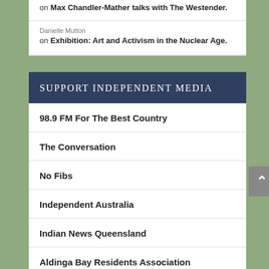on Max Chandler-Mather talks with The Westender.
Danielle Mutton
on Exhibition: Art and Activism in the Nuclear Age.
SUPPORT INDEPENDENT MEDIA
98.9 FM For The Best Country
The Conversation
No Fibs
Independent Australia
Indian News Queensland
Aldinga Bay Residents Association